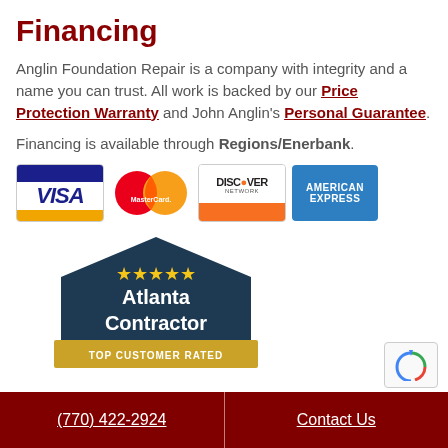Financing
Anglin Foundation Repair is a company with integrity and a name you can trust. All work is backed by our Price Protection Warranty and John Anglin's Personal Guarantee.
Financing is available through Regions/Enerbank.
[Figure (logo): Four payment card logos: Visa, MasterCard, Discover Network, American Express]
[Figure (logo): Atlanta Contractor Top Customer Rated badge: dark navy pentagon shape with gold stars and gold banner at bottom]
(770) 422-2924   Contact Us